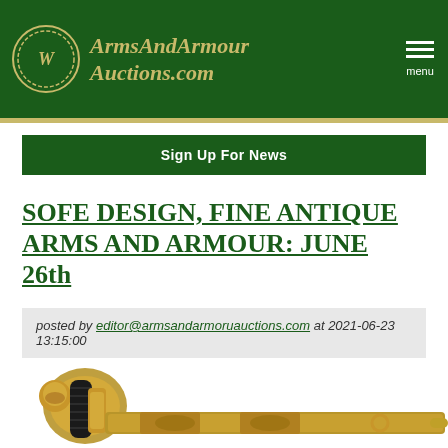ArmsAndArmour Auctions.com
Sign Up For News
SOFE DESIGN, FINE ANTIQUE ARMS AND ARMOUR: JUNE 26th
posted by editor@armsandarmoruauctions.com at 2021-06-23 13:15:00
[Figure (photo): Close-up photograph of an antique gold and black military sword with ornate brass guard and engraved scabbard]